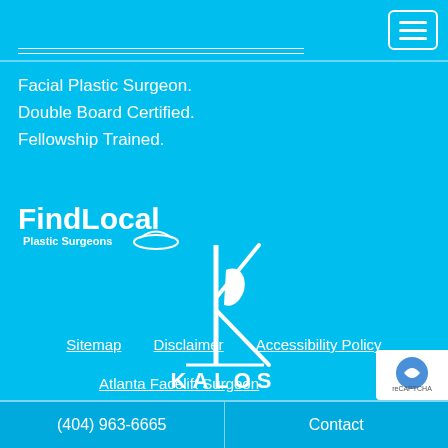[Figure (logo): Hamburger menu button with three white horizontal lines in a white-bordered rounded rectangle]
Facial Plastic Surgeon.
Double Board Certified.
Fellowship Trained.
[Figure (logo): FindLocal Plastic Surgeons logo in white on cyan background]
[Figure (logo): Kalos Facial Plastic Surgery logo - white stylized K with face silhouette and KALOS text below]
Sitemap   Disclaimer   Accessibility Policy
Atlanta Facelift Surgeon
(404) 963-6665   Contact